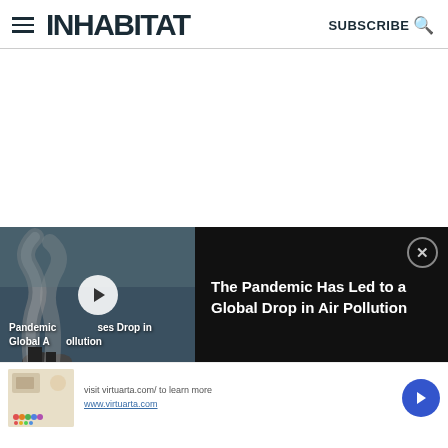INHABITAT — SUBSCRIBE
[Figure (screenshot): White blank content area below the header]
[Figure (screenshot): Video overlay panel on dark background showing a smokestack image with play button. Text overlay: 'Pandemic Causes Drop in Global Air Pollution'. Right panel text: 'The Pandemic Has Led to a Global Drop in Air Pollution'. Close (X) button top right.]
Visit virtuarta.com/ to learn more
www.virtuarta.com